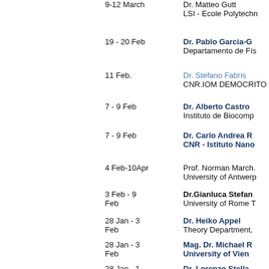9-12 March   Dr. Matteo Gutt
LSI - Ecole Polytechn...
19 - 20 Feb   Dr. Pablo Garcia-G...
Departamento de Fis...
11 Feb.   Dr. Stefano Fabris
CNR.IOM DEMOCRITO...
7 - 9 Feb   Dr. Alberto Castro
Instituto de Biocomp...
7 - 9 Feb   Dr. Carlo Andrea R...
CNR - Istituto Nano...
4 Feb-10Apr   Prof. Norman March.
University of Antwerp
3 Feb - 9 Feb   Dr.Gianluca Stefan...
University of Rome T...
28 Jan - 3 Feb   Dr. Heiko Appel
Theory Department,...
28 Jan - 3 Feb   Mag. Dr. Michael R...
University of Vien...
28 Jan - 1 Feb   Dr. Lorenzo Stella
University College Lo...
28 Jan - 1 Feb   Dr.Elena Canuccia...
Grenoble. (France)
24 Jan - 25   Dr. Davide Donadio...